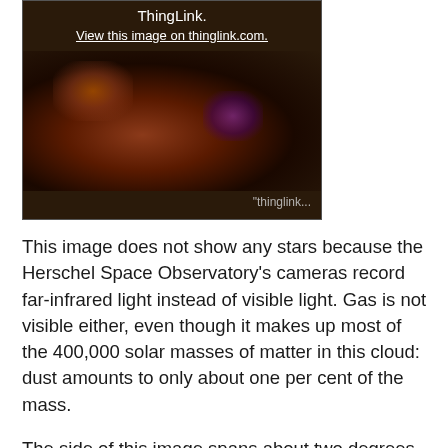[Figure (photo): Infrared image of nebula W3 displayed via ThingLink. Dark reddish-brown nebula image with ThingLink logo and link overlay, and ThingLink watermark in lower right.]
This image does not show any stars because the Herschel Space Observatory's cameras record far-infrared light instead of visible light. Gas is not visible either, even though it makes up most of the 400,000 solar masses of matter in this cloud: dust amounts to only about one per cent of the mass.
The side of this image spans about two degrees, or four times the diameter of the moon. At the cloud's distance of 6,500 light years, this corresponds to about 230 light years. North is up and East is to the left.
This three-colour image of W3 uses visible colours to depict far-infrared radiation of different wavelengths, combining the Herschel bands at 70 μm (depicted in blue), 160 μm (depicted in green) and 250 μm (depicted in red). Hotter